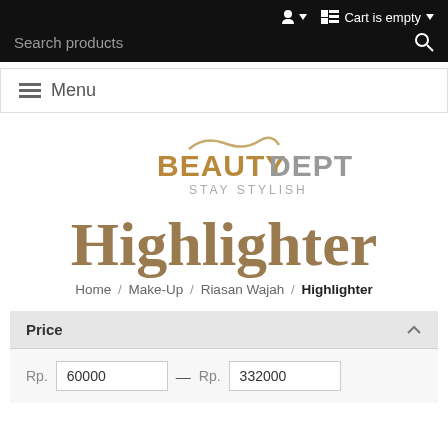Cart is empty | Search products
≡ Menu
[Figure (logo): BeautyDept Stay Stylish logo with golden wave and gold/grey text]
Highlighter
Home / Make-Up / Riasan Wajah / Highlighter
Price  Rp. 60000 — Rp. 332000